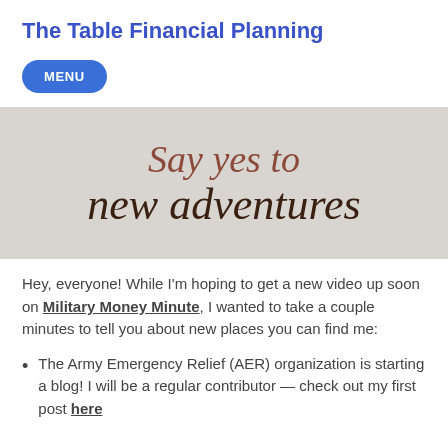The Table Financial Planning
[Figure (other): Blue rounded rectangle button with white text: MENU]
[Figure (photo): Gray background image with handwritten cursive text reading 'Say yes to new adventures']
Hey, everyone!  While I'm hoping to get a new video up soon on Military Money Minute, I wanted to take a couple minutes to tell you about new places you can find me:
The Army Emergency Relief (AER) organization is starting a blog!  I will be a regular contributor — check out my first post here